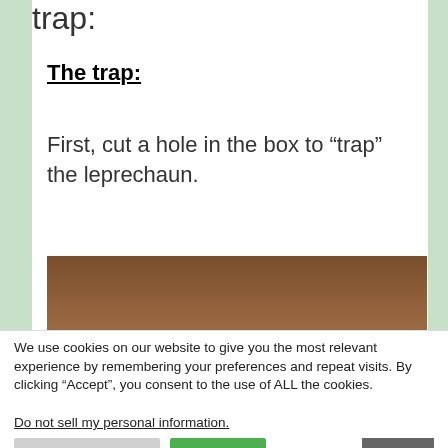trap:
The trap:
First, cut a hole in the box to “trap” the leprechaun.
[Figure (photo): Photo of a wooden table surface with a colorful box partially visible at the bottom edge, showing a leprechaun trap craft project in progress.]
We use cookies on our website to give you the most relevant experience by remembering your preferences and repeat visits. By clicking “Accept”, you consent to the use of ALL the cookies.
Do not sell my personal information.